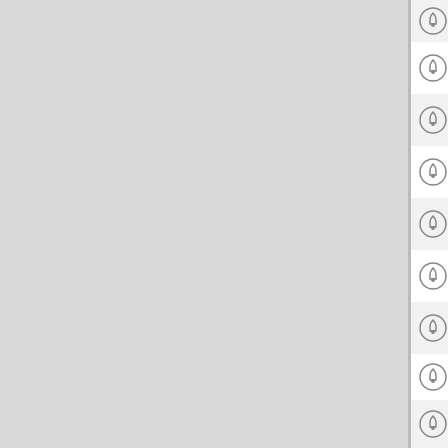[astcallcenters] Need to Outsource Spani…
[astcallcenters] QueueMetrics 1.2 release…
[astcallcenters] USA termination @ .009/m…
[astcallcenters] Turning AAH into a call c…
[astcallcenters] QueueMetrics RSS feed
[astcallcenters] app_icd
[astcallcenters] QueueMetrics using yum…
[astcallcenters]
[astcallcenters] easy predictive dialer
[astcallcenters] CC monitoring: QueueMe…
[astcallcenters]…